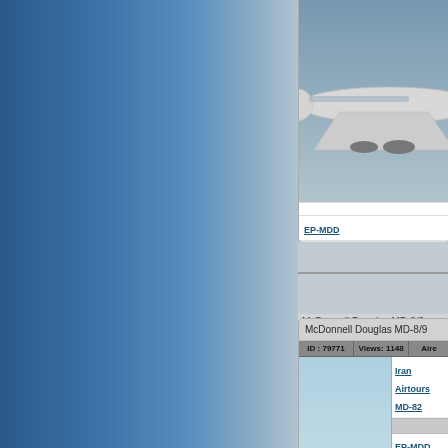[Figure (photo): Iran Airtours MD-82 aircraft in flight against blue-grey sky, top card partially visible]
EP-MDD
McDonnell Douglas MD-8/9
| ID : 79771 | Views: 1148 | Aire |
| --- | --- | --- |
| Iran Airtours MD-82 | EP-MDD New live |  |
[Figure (photo): Iran Airtours MD-82 aircraft in flight, white livery against blue sky]
McDonnell Douglas MD-8/9
| ID : 69744 | Views: 1282 | Aire |
| --- | --- | --- |
| Iran Airtours MD-82 |  |  |